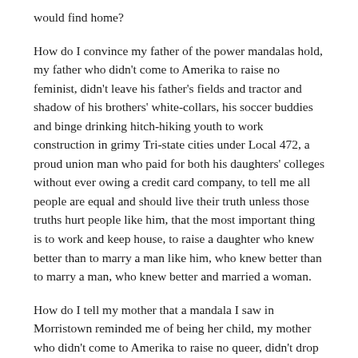would find home?
How do I convince my father of the power mandalas hold, my father who didn't come to Amerika to raise no feminist, didn't leave his father's fields and tractor and shadow of his brothers' white-collars, his soccer buddies and binge drinking hitch-hiking youth to work construction in grimy Tri-state cities under Local 472, a proud union man who paid for both his daughters' colleges without ever owing a credit card company, to tell me all people are equal and should live their truth unless those truths hurt people like him, that the most important thing is to work and keep house, to raise a daughter who knew better than to marry a man like him, who knew better than to marry a man, who knew better and married a woman.
How do I tell my mother that a mandala I saw in Morristown reminded me of being her child, my mother who didn't come to Amerika to raise no queer, didn't drop out of East Side High at 15 because white folks taught her to fear books and black girls, to work at Pitas Bakery and Lucy's Hair Fashion and dealt with her own mother who told her she didn't know how to be a